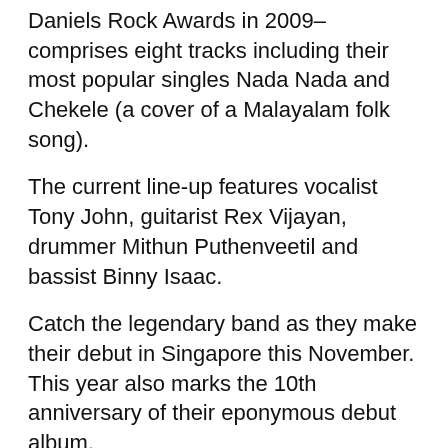Daniels Rock Awards in 2009–comprises eight tracks including their most popular singles Nada Nada and Chekele (a cover of a Malayalam folk song).
The current line-up features vocalist Tony John, guitarist Rex Vijayan, drummer Mithun Puthenveetil and bassist Binny Isaac.
Catch the legendary band as they make their debut in Singapore this November. This year also marks the 10th anniversary of their eponymous debut album.
Details:
Performed in Malayalam.